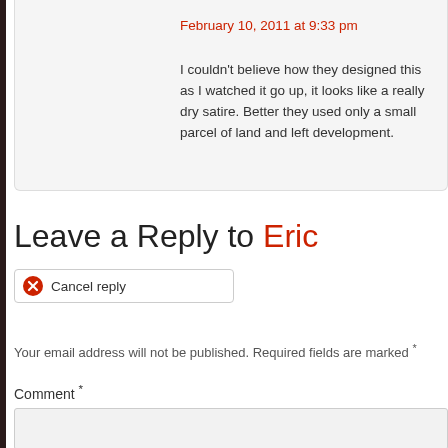February 10, 2011 at 9:33 pm
I couldn't believe how they designed this as I watched it go up, it looks like a really dry satire. Better they used only a small parcel of land and left development.
Leave a Reply to Eric
Cancel reply
Your email address will not be published. Required fields are marked *
Comment *